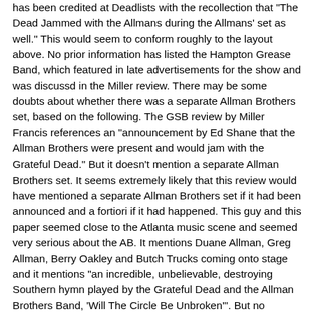has been credited at Deadlists with the recollection that "The Dead Jammed with the Allmans during the Allmans' set as well." This would seem to conform roughly to the layout above. No prior information has listed the Hampton Grease Band, which featured in late advertisements for the show and was discussd in the Miller review. There may be some doubts about whether there was a separate Allman Brothers set, based on the following. The GSB review by Miller Francis references an "announcement by Ed Shane that the Allman Brothers were present and would jam with the Grateful Dead." But it doesn't mention a separate Allman Brothers set. It seems extremely likely that this review would have mentioned a separate Allman Brothers set if it had been announced and a fortiori if it had happened. This guy and this paper seemed close to the Atlanta music scene and seemed very serious about the AB. It mentions Duane Allman, Greg Allman, Berry Oakley and Butch Trucks coming onto stage and it mentions "an incredible, unbelievable, destroying Southern hymn played by the Grateful Dead and the Allman Brothers Band, 'Will The Circle Be Unbroken'". But no mention of an AB set. One guess is that there was no separate AB set, that the order was 1) Hampton Grease